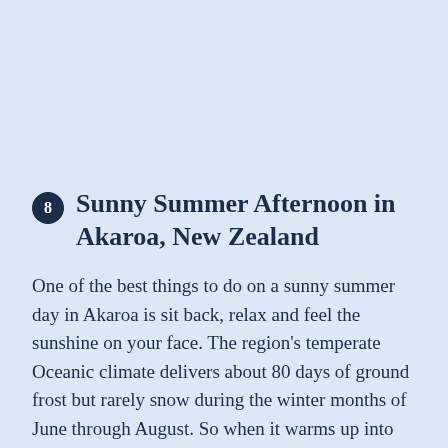8 Sunny Summer Afternoon in Akaroa, New Zealand
One of the best things to do on a sunny summer day in Akaroa is sit back, relax and feel the sunshine on your face. The region's temperate Oceanic climate delivers about 80 days of ground frost but rarely snow during the winter months of June through August. So when it warms up into the 70s °F from December through March, you can bet New Zealanders are going to savor the warmth.
51 BEACH ROAD, AKAROA 7520, NEW ZEALAND